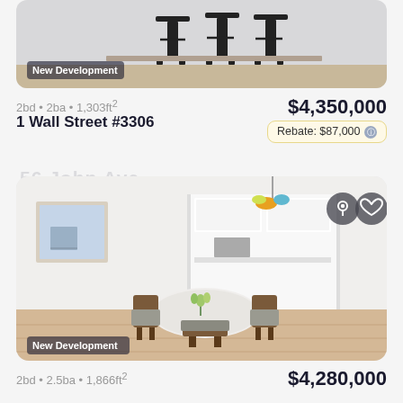[Figure (photo): Partial view of a room with bar stools, cropped at top — New Development badge visible]
2bd • 2ba • 1,303ft²
1 Wall Street #3306
$4,350,000
Rebate: $87,000
[Figure (photo): Living/dining room interior with round white table, wooden chairs, framed art, colorful pendant lamp, open kitchen in background — New Development badge]
2bd • 2.5ba • 1,866ft²
$4,280,000